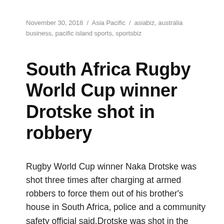November 30, 2018 / Asia Pacific / asiabiz, australia business, pacific island sports, sportsbiz
South Africa Rugby World Cup winner Drotske shot in robbery
Rugby World Cup winner Naka Drotske was shot three times after charging at armed robbers to force them out of his brother's house in South Africa, police and a community safety official said.Drotske was shot in the chest, arm, and…